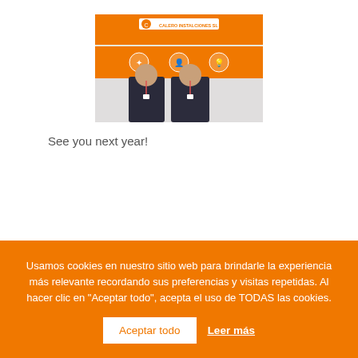[Figure (photo): Two men in suits standing in front of an orange trade show booth with logo and branding elements]
See you next year!
Usamos cookies en nuestro sitio web para brindarle la experiencia más relevante recordando sus preferencias y visitas repetidas. Al hacer clic en "Aceptar todo", acepta el uso de TODAS las cookies.